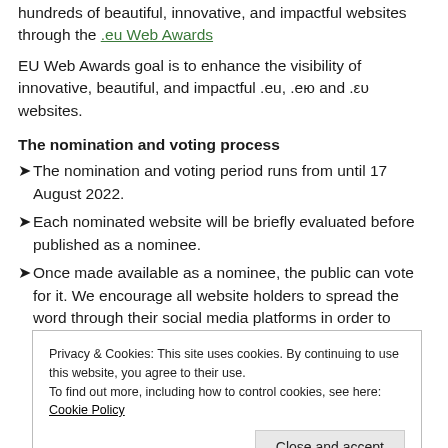hundreds of beautiful, innovative, and impactful websites through the .eu Web Awards
EU Web Awards goal is to enhance the visibility of innovative, beautiful, and impactful .eu, .eю and .ευ websites.
The nomination and voting process
The nomination and voting period runs from until 17 August 2022.
Each nominated website will be briefly evaluated before published as a nominee.
Once made available as a nominee, the public can vote for it. We encourage all website holders to spread the word through their social media platforms in order to gather as many votes as possible!
Privacy & Cookies: This site uses cookies. By continuing to use this website, you agree to their use. To find out more, including how to control cookies, see here: Cookie Policy